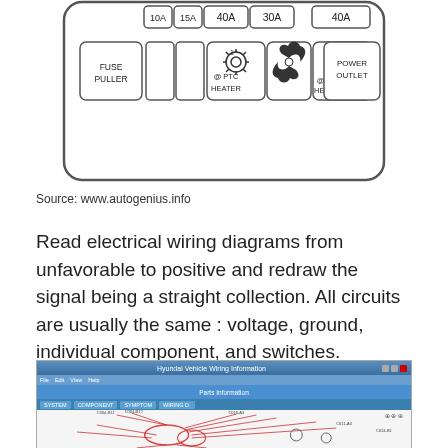[Figure (schematic): Fuse box diagram showing fuse puller, various fuses labeled 10A, 15A, 40A, 30A, 40A, PTC heater (1 and 3), and power outlet slots arranged in a rectangular panel with rounded corners.]
Source: www.autogenius.info
Read electrical wiring diagrams from unfavorable to positive and redraw the signal being a straight collection. All circuits are usually the same : voltage, ground, individual component, and switches.
[Figure (screenshot): Screenshot of Hyundai vehicle wiring diagram software showing a complex wiring diagram with pink/magenta colored wire harness connections and multiple labeled components on a white background, with a blue toolbar and menu bar at the top.]